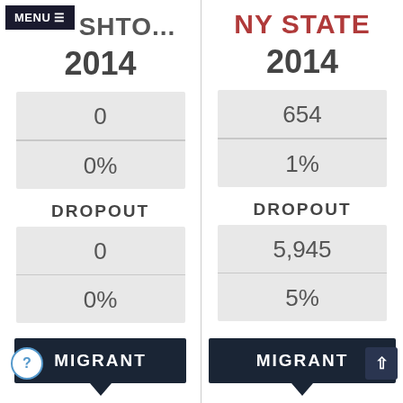MENU ≡ SHTO... NY STATE
2014
| Metric | SHTO... | NY STATE |
| --- | --- | --- |
| Count | 0 | 654 |
| Percent | 0% | 1% |
| DROPOUT Count | 0 | 5,945 |
| DROPOUT Percent | 0% | 5% |
DROPOUT
DROPOUT
MIGRANT | MIGRANT